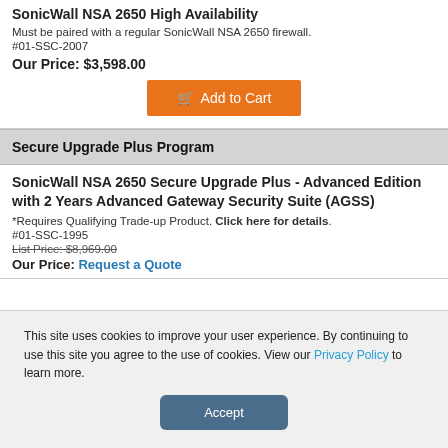SonicWall NSA 2650 High Availability
Must be paired with a regular SonicWall NSA 2650 firewall.
#01-SSC-2007
Our Price: $3,598.00
Secure Upgrade Plus Program
SonicWall NSA 2650 Secure Upgrade Plus - Advanced Edition with 2 Years Advanced Gateway Security Suite (AGSS)
*Requires Qualifying Trade-up Product. Click here for details.
#01-SSC-1995
List Price: $8,969.00
Our Price: Request a Quote
This site uses cookies to improve your user experience. By continuing to use this site you agree to the use of cookies. View our Privacy Policy to learn more.